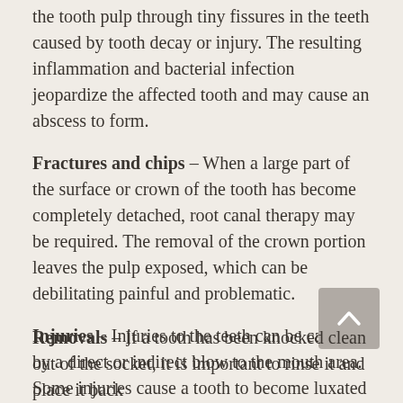the tooth pulp through tiny fissures in the teeth caused by tooth decay or injury. The resulting inflammation and bacterial infection jeopardize the affected tooth and may cause an abscess to form.
Fractures and chips – When a large part of the surface or crown of the tooth has become completely detached, root canal therapy may be required. The removal of the crown portion leaves the pulp exposed, which can be debilitating painful and problematic.
Injuries – Injuries to the teeth can be caused by a direct or indirect blow to the mouth area.  Some injuries cause a tooth to become luxated or dislodged from its socket. Root canal therapy is often needed after the endodontist has successfully stabilized the injured tooth.
Removals – If a tooth has been knocked clean out of the socket, it is important to rinse it and place it back